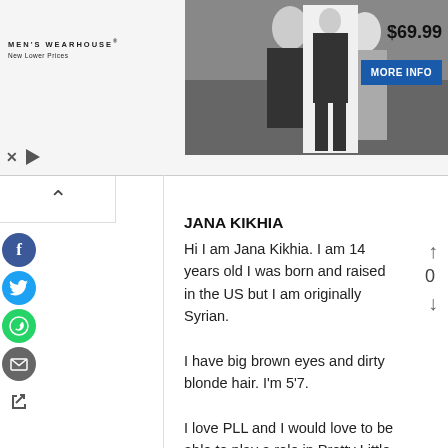[Figure (photo): Men's Wearhouse advertisement banner showing a couple in formal wear and a small suit with price $69.99 and MORE INFO button]
JANA KIKHIA
Hi I am Jana Kikhia. I am 14 years old I was born and raised in the US but I am originally Syrian. I have big brown eyes and dirty blonde hair. I'm 5'7. I love PLL and I would love to be able to play a role in Pretty Little Liars: The Perfectionists. It would be great if you gave me the chance I would love to audition.